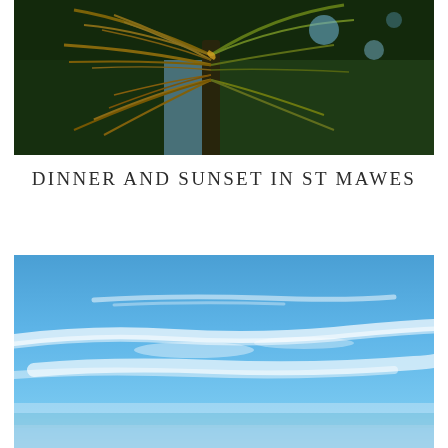[Figure (photo): Close-up photograph of tropical palm tree fronds with lush green trees in the background, shot from below against a blue sky. Warm golden and green tones in the palm leaves.]
DINNER AND SUNSET IN ST MAWES
[Figure (photo): Wide landscape photograph of a bright blue sky with wispy white clouds, taken over what appears to be a coastal or countryside scene.]